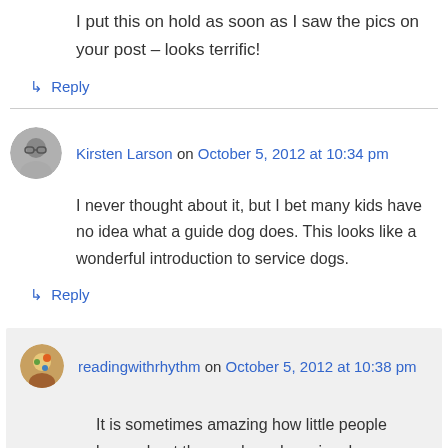I put this on hold as soon as I saw the pics on your post – looks terrific!
↳ Reply
Kirsten Larson on October 5, 2012 at 10:34 pm
I never thought about it, but I bet many kids have no idea what a guide dog does. This looks like a wonderful introduction to service dogs.
↳ Reply
readingwithrhythm on October 5, 2012 at 10:38 pm
It is sometimes amazing how little people know about the needs and preferences of...